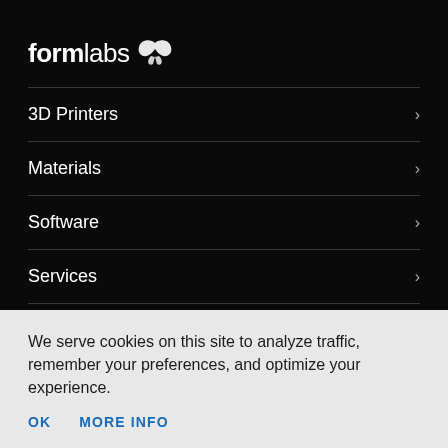formlabs
3D Printers
Materials
Software
Services
Learn
Company
We serve cookies on this site to analyze traffic, remember your preferences, and optimize your experience.
OK   MORE INFO